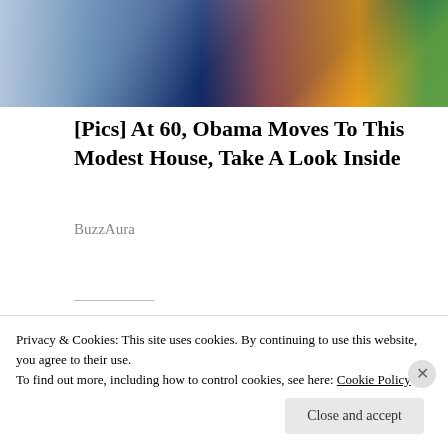[Figure (photo): Partial view of two people, one in blue/white checkered shirt, one in dark blue top with orange strap, cropped at top of page]
[Pics] At 60, Obama Moves To This Modest House, Take A Look Inside
BuzzAura
Share this:
[Figure (screenshot): Share button with share icon]
[Figure (screenshot): Like button with star icon and row of user avatar thumbnails]
Privacy & Cookies: This site uses cookies. By continuing to use this website, you agree to their use.
To find out more, including how to control cookies, see here: Cookie Policy
Close and accept